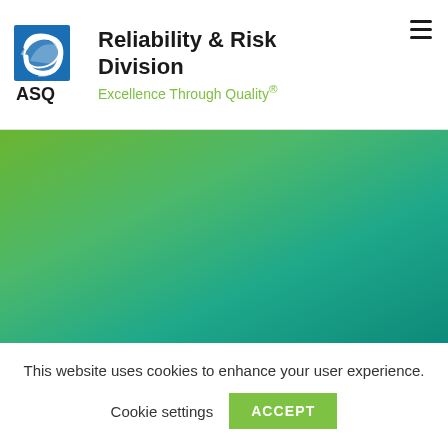[Figure (logo): ASQ logo — blue square with white checkmark/leaf swoosh, with 'ASQ' text below]
Reliability & Risk Division
Excellence Through Quality®
[Figure (illustration): Green to teal gradient hero banner background image]
This website uses cookies to enhance your user experience.
Cookie settings   ACCEPT